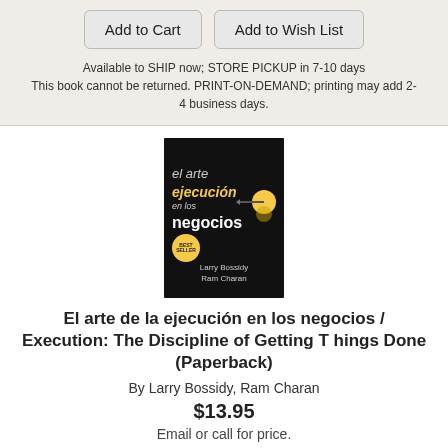Add to Cart
Add to Wish List
Available to SHIP now; STORE PICKUP in 7-10 days
This book cannot be returned. PRINT-ON-DEMAND; printing may add 2-4 business days.
[Figure (photo): Book cover of 'El arte de la ejecución en los negocios / Execution' by Larry Bossidy and Ram Charan. Dark background with yellow dart ball and bestseller badge.]
El arte de la ejecución en los negocios / Execution: The Discipline of Getting T hings Done (Paperback)
By Larry Bossidy, Ram Charan
$13.95
Email or call for price.